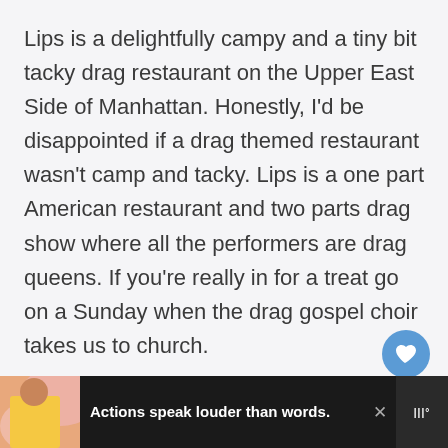Lips is a delightfully campy and a tiny bit tacky drag restaurant on the Upper East Side of Manhattan. Honestly, I'd be disappointed if a drag themed restaurant wasn't camp and tacky. Lips is a one part American restaurant and two parts drag show where all the performers are drag queens. If you're really in for a treat go on a Sunday when the drag gospel choir takes us to church.
[Figure (illustration): Blue circular button with heart icon (favorite/like button)]
[Figure (illustration): White circular button with share icon]
[Figure (infographic): Advertisement banner with dark background showing a person in yellow clothing, pink swirl background, text 'Actions speak louder than words.' in white bold font, close button (X), and a logo on the right side.]